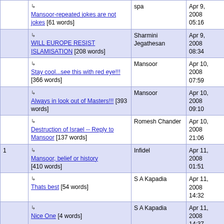|  | Post | Author | Date |
| --- | --- | --- | --- |
|  | ↳ Mansoor-repeated jokes are not jokes [61 words] | spa | Apr 9, 2008 05:16 |
|  | ↳ WILL EUROPE RESIST ISLAMISATION [208 words] | Sharmini Jegathesan | Apr 9, 2008 08:34 |
|  | ↳ Stay cool...see this with red eye!!! [366 words] | Mansoor | Apr 10, 2008 07:59 |
|  | ↳ Always in look out of Masters!!! [393 words] | Mansoor | Apr 10, 2008 09:10 |
|  | ↳ Destruction of Israel -- Reply to Mansoor [137 words] | Romesh Chander | Apr 10, 2008 21:06 |
| 1 | ↳ Mansoor, belief or history [410 words] | Infidel | Apr 11, 2008 01:51 |
|  | ↳ Thats best [54 words] | S A Kapadia | Apr 11, 2008 14:32 |
|  | ↳ Nice One [4 words] | S A Kapadia | Apr 11, 2008 14:37 |
|  | ↳ Mansoor-spent way too much... | another infidel | Apr 11, 2008 |